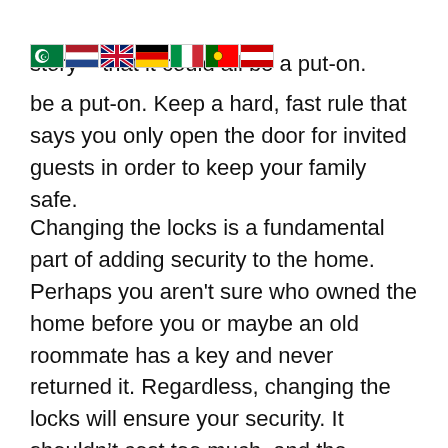into your home. No matter how sympathetic the story – that it could all be a put-on. Keep a hard, fast rule that says you only open the door for invited guests in order to keep your family safe.
Changing the locks is a fundamental part of adding security to the home. Perhaps you aren't sure who owned the home before you or maybe an old roommate has a key and never returned it. Regardless, changing the locks will ensure your security. It shouldn't cost too much, and the process can be completed very quickly.
In summer, take care to trim back branches and plants near the house. These items have a higher chance of catching fire during the hot months. Clear up your yard so it looks good